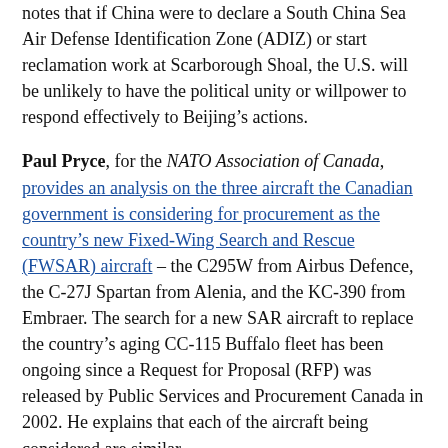notes that if China were to declare a South China Sea Air Defense Identification Zone (ADIZ) or start reclamation work at Scarborough Shoal, the U.S. will be unlikely to have the political unity or willpower to respond effectively to Beijing’s actions.
Paul Pryce, for the NATO Association of Canada, provides an analysis on the three aircraft the Canadian government is considering for procurement as the country’s new Fixed-Wing Search and Rescue (FWSAR) aircraft – the C295W from Airbus Defence, the C-27J Spartan from Alenia, and the KC-390 from Embraer. The search for a new SAR aircraft to replace the country’s aging CC-115 Buffalo fleet has been ongoing since a Request for Proposal (RFP) was released by Public Services and Procurement Canada in 2002. He explains that each of the aircraft being considered are similar